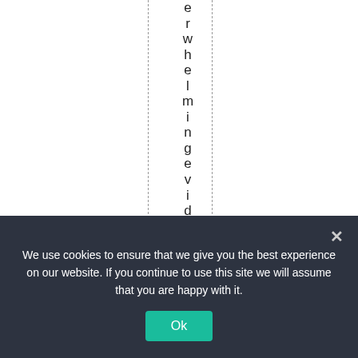e r w h e l m i n g e v i d e n c e
We use cookies to ensure that we give you the best experience on our website. If you continue to use this site we will assume that you are happy with it.
Ok